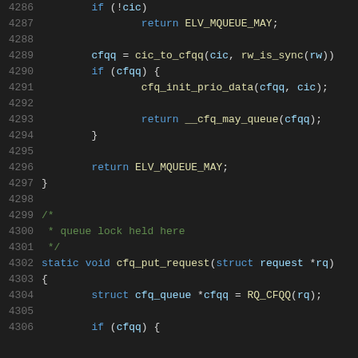4286  if (!cic)
4287      return ELV_MQUEUE_MAY;
4288
4289  cfqq = cic_to_cfqq(cic, rw_is_sync(rw))
4290  if (cfqq) {
4291      cfq_init_prio_data(cfqq, cic);
4292
4293      return __cfq_may_queue(cfqq);
4294  }
4295
4296  return ELV_MQUEUE_MAY;
4297  }
4298
4299  /*
4300   * queue lock held here
4301   */
4302  static void cfq_put_request(struct request *rq)
4303  {
4304      struct cfq_queue *cfqq = RQ_CFQQ(rq);
4305
4306  if (cfqq) {